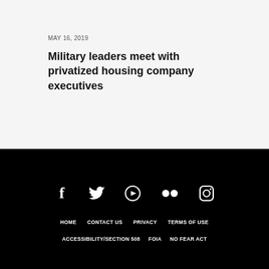MAY 16, 2019
Military leaders meet with privatized housing company executives
[Figure (infographic): Social media icons row on black background: Facebook, Twitter, YouTube, Flickr, Instagram]
HOME  CONTACT US  PRIVACY  TERMS OF USE  ACCESSIBILITY/SECTION 508  FOIA  NO FEAR ACT